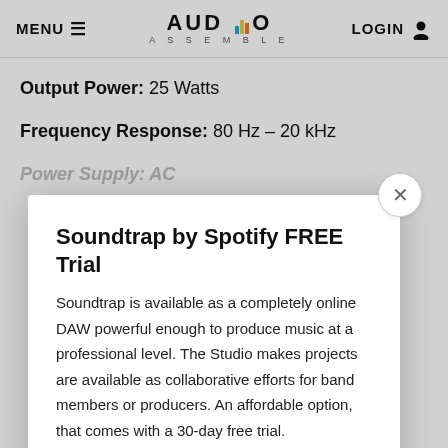MENU | AUD:O ASSEMBLE | LOGIN
Output Power: 25 Watts
Frequency Response: 80 Hz – 20 kHz
Power Supply: AC
Soundtrap by Spotify FREE Trial
Soundtrap is available as a completely online DAW powerful enough to produce music at a professional level. The Studio makes projects are available as collaborative efforts for band members or producers. An affordable option, that comes with a 30-day free trial.
START FREE TRIAL